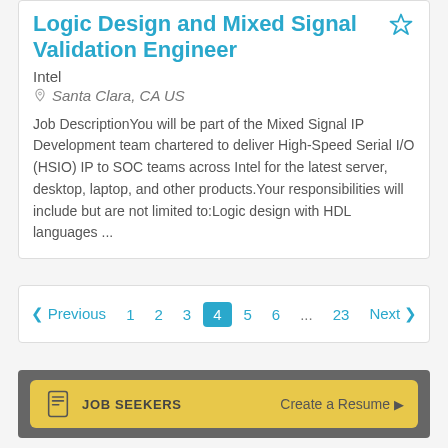Logic Design and Mixed Signal Validation Engineer
Intel
Santa Clara, CA US
Job DescriptionYou will be part of the Mixed Signal IP Development team chartered to deliver High-Speed Serial I/O (HSIO) IP to SOC teams across Intel for the latest server, desktop, laptop, and other products.Your responsibilities will include but are not limited to:Logic design with HDL languages ...
< Previous  1  2  3  4  5  6  ...  23  Next  >
JOB SEEKERS   Create a Resume  ▶